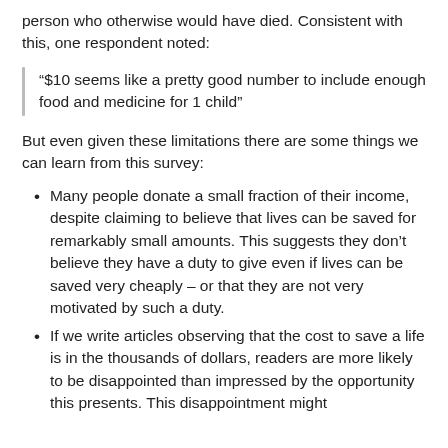person who otherwise would have died. Consistent with this, one respondent noted:
“$10 seems like a pretty good number to include enough food and medicine for 1 child”
But even given these limitations there are some things we can learn from this survey:
Many people donate a small fraction of their income, despite claiming to believe that lives can be saved for remarkably small amounts. This suggests they don’t believe they have a duty to give even if lives can be saved very cheaply – or that they are not very motivated by such a duty.
If we write articles observing that the cost to save a life is in the thousands of dollars, readers are more likely to be disappointed than impressed by the opportunity this presents. This disappointment might